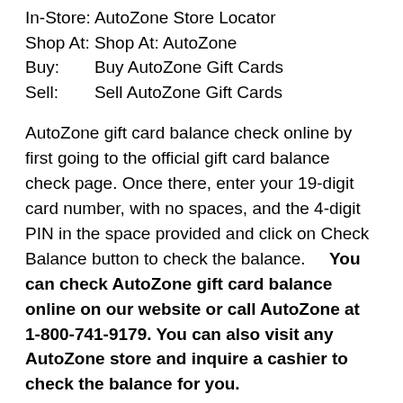| In-Store: | AutoZone Store Locator |
| Shop At: | Shop At: AutoZone |
| Buy: | Buy AutoZone Gift Cards |
| Sell: | Sell AutoZone Gift Cards |
AutoZone gift card balance check online by first going to the official gift card balance check page. Once there, enter your 19-digit card number, with no spaces, and the 4-digit PIN in the space provided and click on Check Balance button to check the balance.    You can check AutoZone gift card balance online on our website or call AutoZone at 1-800-741-9179. You can also visit any AutoZone store and inquire a cashier to check the balance for you.
⚑ If you purchase something through a link on our site, chrischona2015.org may get a small share of the sale.